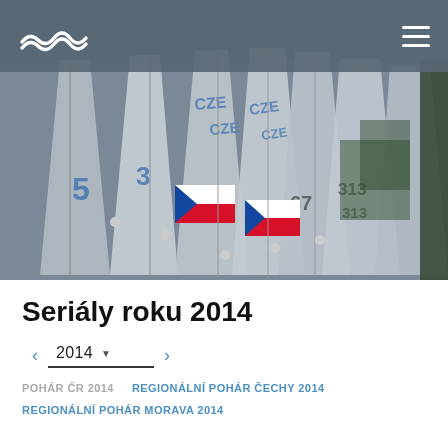Navigation bar with wave logo and hamburger menu
[Figure (photo): Sailing regatta photo showing multiple sailboats with white sails marked CZE and numbers (3, 5, 67, 313), Czech flags visible, grey overcast sky, trees in background]
Seriály roku 2014
< 2014 ▾ >
POHÁR ČR 2014
REGIONÁLNÍ POHÁR ČECHY 2014
REGIONÁLNÍ POHÁR MORAVA 2014